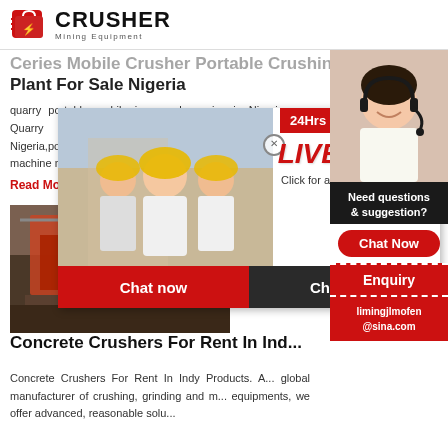[Figure (logo): Crusher Mining Equipment logo with red shopping bag icon]
Ceries Mobile Crusher Portable Crushing Plant For Sale Nigeria
quarry portable mobile jaw crusher price in Nigeria ... Quarry portable mobile jaw crusher price in Nigeria,portable crusher for sale. The stone crusher machine need to cru... reduction.
Read More
[Figure (photo): Live Chat popup overlay with construction workers in hard hats, LIVE CHAT heading, Click for a Free Consultation text, Chat now and Chat later buttons]
[Figure (photo): Crusher equipment/machinery image]
Concrete Crushers For Rent In Ind...
Concrete Crushers For Rent In Indy Products. A... global manufacturer of crushing, grinding and m... equipments, we offer advanced, reasonable solu... the...
[Figure (photo): Right sidebar with customer service agent photo, 24Hrs Online bar, Need questions & suggestion? section, Chat Now button, Enquiry section, limingjlmofen@sina.com email]